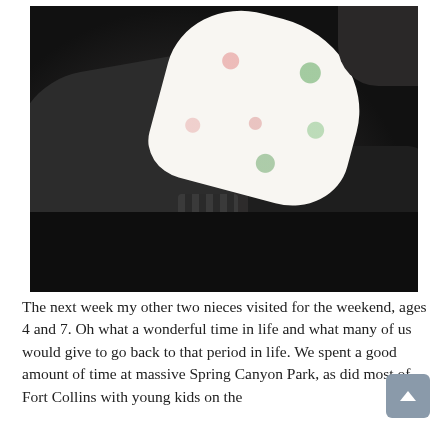[Figure (photo): A person dressed in dark/black clothing holding a baby wrapped in a white blanket with colorful print (appears to have dinosaur or animal patterns in red and green). The photo is taken indoors, with low lighting emphasizing the dark clothing against the light blanket.]
The next week my other two nieces visited for the weekend, ages 4 and 7. Oh what a wonderful time in life and what many of us would give to go back to that period in life. We spent a good amount of time at massive Spring Canyon Park, as did most of Fort Collins with young kids on the